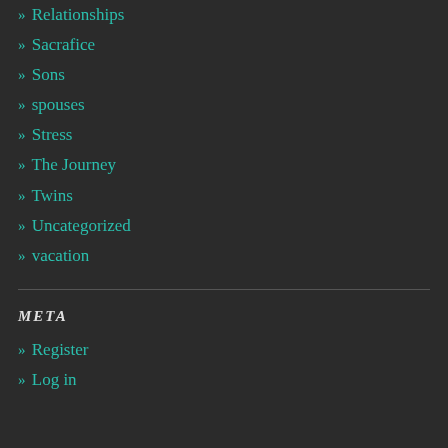» Relationships
» Sacrafice
» Sons
» spouses
» Stress
» The Journey
» Twins
» Uncategorized
» vacation
META
» Register
» Log in